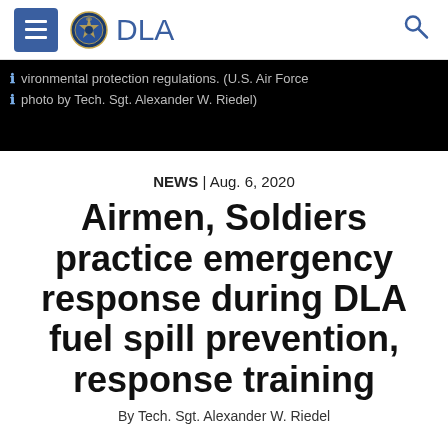DLA
[Figure (screenshot): Dark image caption bar with info icons showing text: 'vironmental protection regulations. (U.S. Air Force photo by Tech. Sgt. Alexander W. Riedel)']
NEWS | Aug. 6, 2020
Airmen, Soldiers practice emergency response during DLA fuel spill prevention, response training
By Tech. Sgt. Alexander W. Riedel